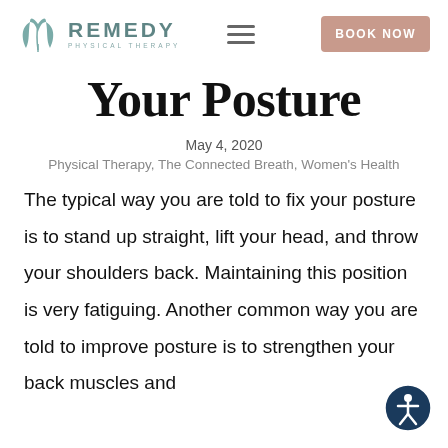[Figure (logo): Remedy Physical Therapy logo with teal plant/leaf icon and text 'REMEDY PHYSICAL THERAPY']
Your Posture
May 4, 2020
Physical Therapy, The Connected Breath, Women's Health
The typical way you are told to fix your posture is to stand up straight, lift your head, and throw your shoulders back. Maintaining this position is very fatiguing. Another common way you are told to improve posture is to strengthen your back muscles and